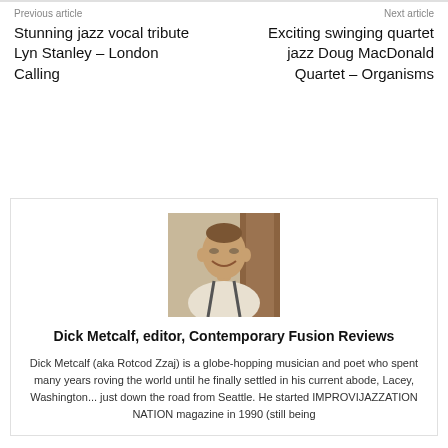Previous article
Stunning jazz vocal tribute Lyn Stanley – London Calling
Next article
Exciting swinging quartet jazz Doug MacDonald Quartet – Organisms
[Figure (photo): Headshot photo of Dick Metcalf, a middle-aged man smiling, wearing a white shirt with suspenders, seated indoors.]
Dick Metcalf, editor, Contemporary Fusion Reviews
Dick Metcalf (aka Rotcod Zzaj) is a globe-hopping musician and poet who spent many years roving the world until he finally settled in his current abode, Lacey, Washington... just down the road from Seattle. He started IMPROVIJAZZATION NATION magazine in 1990 (still being